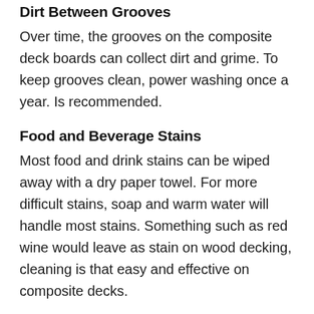Dirt Between Grooves
Over time, the grooves on the composite deck boards can collect dirt and grime. To keep grooves clean, power washing once a year. Is recommended.
Food and Beverage Stains
Most food and drink stains can be wiped away with a dry paper towel. For more difficult stains, soap and warm water will handle most stains. Something such as red wine would leave as stain on wood decking, cleaning is that easy and effective on composite decks.
Snow & Ice
Clearing snow and ice off your composite deck